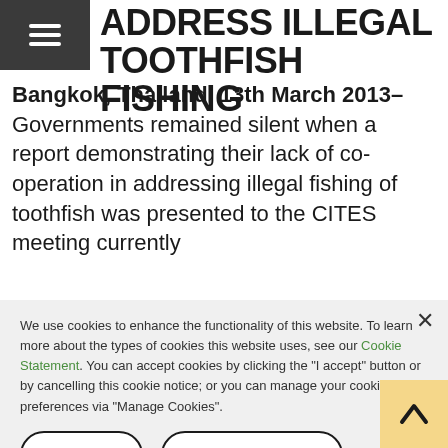ADDRESS ILLEGAL TOOTHFISH FISHING
Bangkok, Thailand, 13th March 2013– Governments remained silent when a report demonstrating their lack of co-operation in addressing illegal fishing of toothfish was presented to the CITES meeting currently
We use cookies to enhance the functionality of this website. To learn more about the types of cookies this website uses, see our Cookie Statement. You can accept cookies by clicking the "I accept" button or by cancelling this cookie notice; or you can manage your cookie preferences via "Manage Cookies".
I accept
Manage Cookies